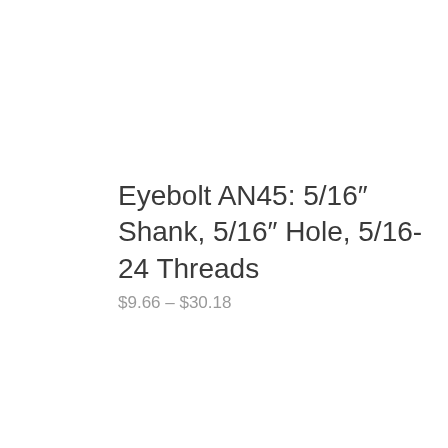Eyebolt AN45: 5/16″ Shank, 5/16″ Hole, 5/16-24 Threads
$9.66 – $30.18